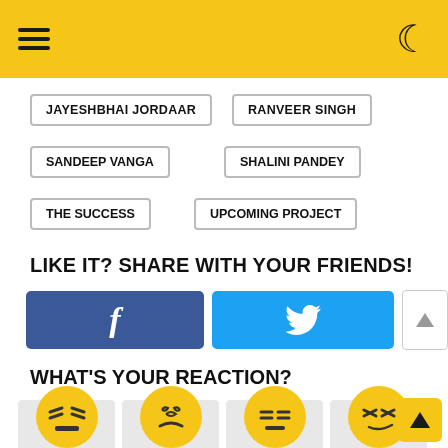☰ header bar with hamburger and moon icon
JAYESHBHAI JORDAAR
RANVEER SINGH
SANDEEP VANGA
SHALINI PANDEY
THE SUCCESS
UPCOMING PROJECT
LIKE IT? SHARE WITH YOUR FRIENDS!
[Figure (other): Facebook share button (blue with f icon) and Twitter share button (cyan with bird icon) and up/down arrow buttons]
WHAT'S YOUR REACTION?
[Figure (other): Four reaction emoji cards each showing a yellow emoji face and a count of 0]